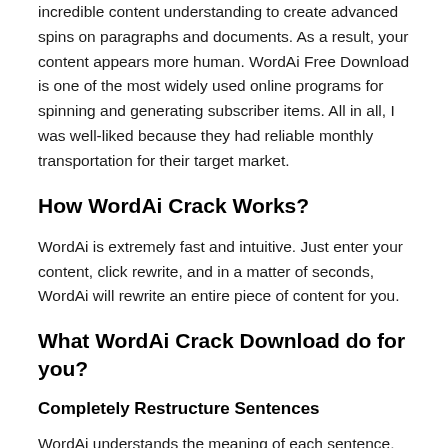incredible content understanding to create advanced spins on paragraphs and documents. As a result, your content appears more human. WordAi Free Download is one of the most widely used online programs for spinning and generating subscriber items. All in all, I was well-liked because they had reliable monthly transportation for their target market.
How WordAi Crack Works?
WordAi is extremely fast and intuitive. Just enter your content, click rewrite, and in a matter of seconds, WordAi will rewrite an entire piece of content for you.
What WordAi Crack Download do for you?
Completely Restructure Sentences
WordAi understands the meaning of each sentence, then